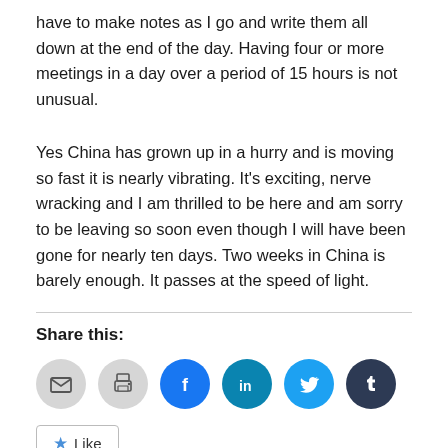have to make notes as I go and write them all down at the end of the day. Having four or more meetings in a day over a period of 15 hours is not unusual.
Yes China has grown up in a hurry and is moving so fast it is nearly vibrating. It's exciting, nerve wracking and I am thrilled to be here and am sorry to be leaving so soon even though I will have been gone for nearly ten days. Two weeks in China is barely enough. It passes at the speed of light.
Share this:
[Figure (infographic): Social sharing icons: email (gray), print (gray), Facebook (blue), LinkedIn (teal), Twitter (light blue), Tumblr (dark navy)]
Like